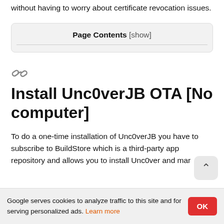without having to worry about certificate revocation issues.
Page Contents [show]
[Figure (other): Link/anchor icon (chain link symbol)]
Install Unc0verJB OTA [No computer]
To do a one-time installation of Unc0verJB you have to subscribe to BuildStore which is a third-party app repository and allows you to install Unc0ver and mar…
Google serves cookies to analyze traffic to this site and for serving personalized ads. Learn more  OK